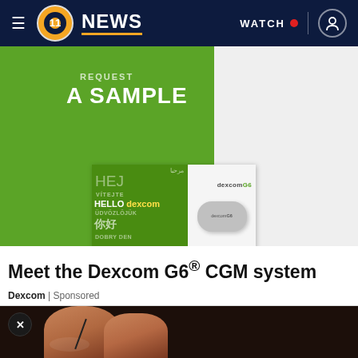≡ 11 NEWS | WATCH • (user icon)
[Figure (photo): Dexcom advertisement with green background. Text reads 'REQUEST A SAMPLE' and 'HELLO dexcom' with multilingual greetings (Arabic, HEJ, VITEJTE, Chinese 你好, DOBRY DEN). Right side shows Dexcom G6 device on white background with dexcomG6 logo.]
Meet the Dexcom G6® CGM system
Dexcom | Sponsored
[Figure (photo): Close-up photo of fingers with a lancet/needle, suggesting blood glucose testing. Dark background with skin tones. Close X button visible.]